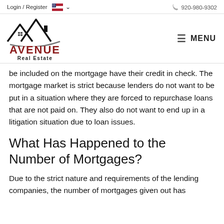Login / Register   920-980-9302
[Figure (logo): Avenue Real Estate logo with house/roof icon above stylized text 'AVENUE Real Estate']
be included on the mortgage have their credit in check. The mortgage market is strict because lenders do not want to be put in a situation where they are forced to repurchase loans that are not paid on. They also do not want to end up in a litigation situation due to loan issues.
What Has Happened to the Number of Mortgages?
Due to the strict nature and requirements of the lending companies, the number of mortgages given out has